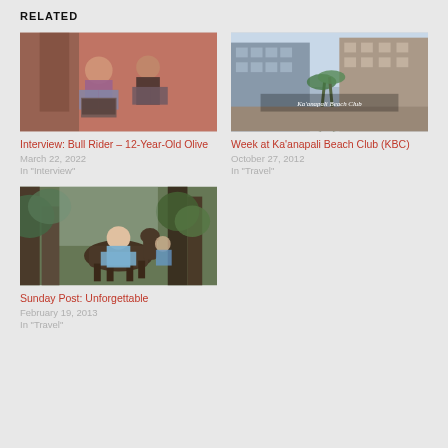RELATED
[Figure (photo): Two people sitting, one with a laptop, against a red wall outdoors]
Interview: Bull Rider – 12-Year-Old Olive
March 22, 2022
In "Interview"
[Figure (photo): Ka'anapali Beach Club hotel building with palm trees, text overlay reads Ka'anapali Beach Club]
Week at Ka'anapali Beach Club (KBC)
October 27, 2012
In "Travel"
[Figure (photo): Person on horseback among trees, outdoor scene]
Sunday Post: Unforgettable
February 19, 2013
In "Travel"